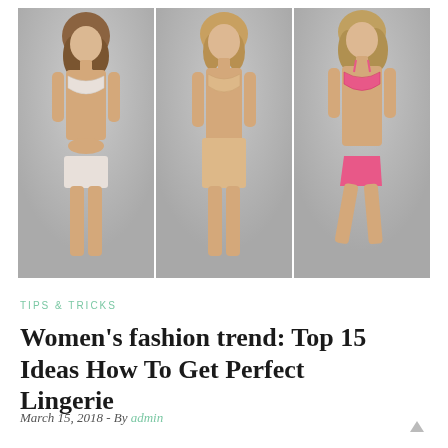[Figure (photo): Three models wearing lingerie sets side by side. Left model wears white/light pink bra and boyshort underwear on grey background. Center model wears nude/beige bra and high-waist briefs on grey background. Right model wears coral/hot pink bra and bikini briefs on grey background.]
TIPS & TRICKS
Women's fashion trend: Top 15 Ideas How To Get Perfect Lingerie
March 15, 2018 - By admin